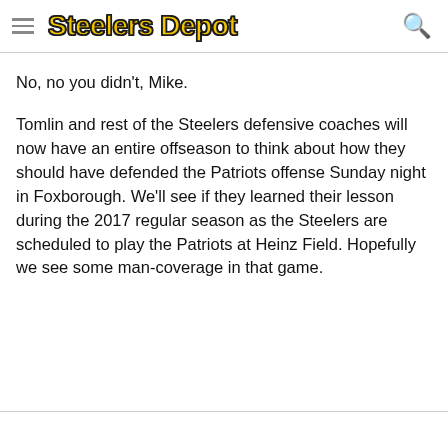Steelers Depot
No, no you didn't, Mike.
Tomlin and rest of the Steelers defensive coaches will now have an entire offseason to think about how they should have defended the Patriots offense Sunday night in Foxborough. We'll see if they learned their lesson during the 2017 regular season as the Steelers are scheduled to play the Patriots at Heinz Field. Hopefully we see some man-coverage in that game.